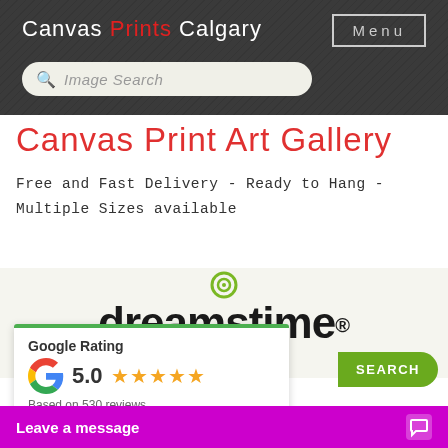Canvas Prints Calgary  Menu
Canvas Print Art Gallery
Free and Fast Delivery - Ready to Hang - Multiple Sizes available
[Figure (logo): Dreamstime logo with green spiral symbol above text, shown on light grey background]
[Figure (infographic): Google Rating card showing 5.0 stars based on 530 reviews with Google G logo and green top border]
SEARCH
Leave a message